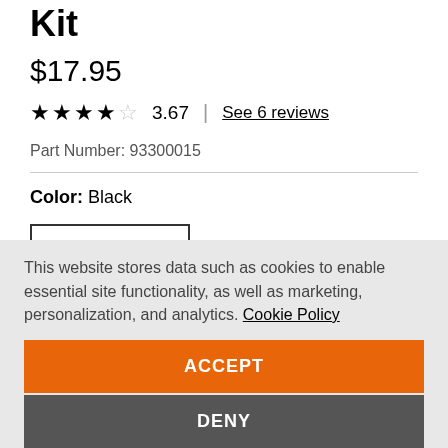Kit
$17.95
★★★★☆ 3.67 | See 6 reviews
Part Number: 93300015
Color: Black
— Qty 1 +
Free Shipping with $50 Purchase
This website stores data such as cookies to enable essential site functionality, as well as marketing, personalization, and analytics. Cookie Policy
ACCEPT
DENY